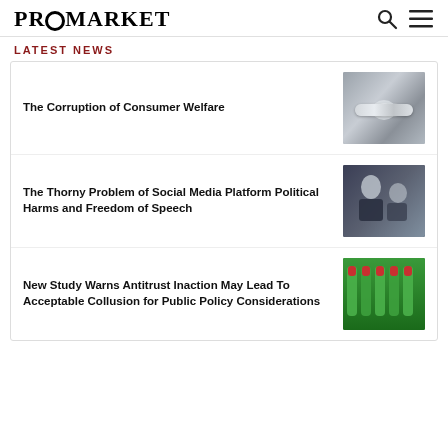PROMARKET
LATEST NEWS
The Corruption of Consumer Welfare
[Figure (photo): Close-up of a diamond or crystal necklace on a dark surface]
The Thorny Problem of Social Media Platform Political Harms and Freedom of Speech
[Figure (photo): Two men in formal attire at what appears to be a hearing or conference]
New Study Warns Antitrust Inaction May Lead To Acceptable Collusion for Public Policy Considerations
[Figure (photo): Rows of green bottles with red caps]